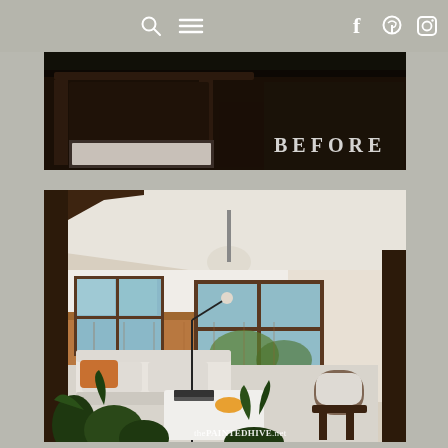Navigation bar with search, menu, facebook, pinterest, instagram icons
[Figure (photo): Before photo of a bedroom interior with dark wooden furniture, viewed from above. Text overlay reads BEFORE in white letters.]
[Figure (photo): After photo of a renovated living room with white sofa, wooden ceiling beams, wood-paneled walls, pendant light, plants, coffee table, and rug. Watermark reads thePAINTEDHIVE.net]